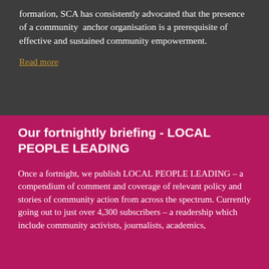formation, SCA has consistently advocated that the presence of a community anchor organisation is a prerequisite of effective and sustained community empowerment.
Read more
Our fortnightly briefing - LOCAL PEOPLE LEADING
Once a fortnight, we publish LOCAL PEOPLE LEADING – a compendium of comment and coverage of relevant policy and stories of community action from across the spectrum. Currently going out to just over 4,300 subscribers – a readership which include community activists, journalists, academics,